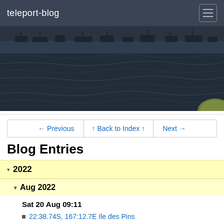teleport-blog
[Figure (photo): Seascape photo showing dark choppy water with several boats anchored in the background near a shoreline, and a green/yellow object in the bottom right corner.]
← Previous | ↑ Back to Index ↑ | Next →
Blog Entries
▾ 2022
▾ Aug 2022
Sat 20 Aug 09:11
22:38.74S, 167:12.7E Ile des Pins